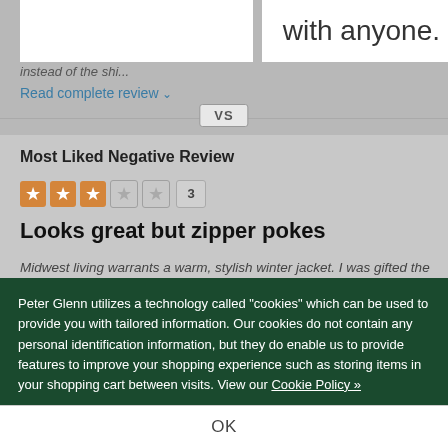with anyone.
instead of the shi...
Read complete review ∨
VS
Most Liked Negative Review
★★★☆☆ 3
Looks great but zipper pokes
Midwest living warrants a warm, stylish winter jacket. I was gifted the pomegranate color in medium, and I love the look - got tons of compliments! (For reference: 5' 4", 140 lbs; average/athletic build)
Peter Glenn utilizes a technology called "cookies" which can be used to provide you with tailored information. Our cookies do not contain any personal identification information, but they do enable us to provide features to improve your shopping experience such as storing items in your shopping cart between visits. View our Cookie Policy »
OK